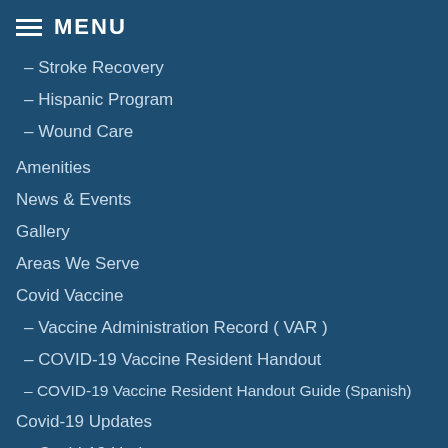MENU
– Stroke Recovery
– Hispanic Program
– Wound Care
Amenities
News & Events
Gallery
Areas We Serve
Covid Vaccine
– Vaccine Administration Record ( VAR )
– COVID-19 Vaccine Resident Handout
– COVID-19 Vaccine Resident Handout Guide (Spanish)
Covid-19 Updates
– Covid-19 Update
– Outdoor Visitations